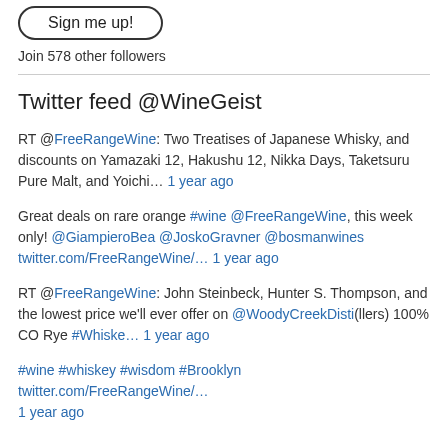[Figure (other): Sign me up! button with rounded border]
Join 578 other followers
Twitter feed @WineGeist
RT @FreeRangeWine: Two Treatises of Japanese Whisky, and discounts on Yamazaki 12, Hakushu 12, Nikka Days, Taketsuru Pure Malt, and Yoichi… 1 year ago
Great deals on rare orange #wine @FreeRangeWine, this week only! @GiampieroBea @JoskoGravner @bosmanwines twitter.com/FreeRangeWine/… 1 year ago
RT @FreeRangeWine: John Steinbeck, Hunter S. Thompson, and the lowest price we'll ever offer on @WoodyCreekDisti(llers) 100% CO Rye #Whiske… 1 year ago
#wine #whiskey #wisdom #Brooklyn twitter.com/FreeRangeWine/… 1 year ago